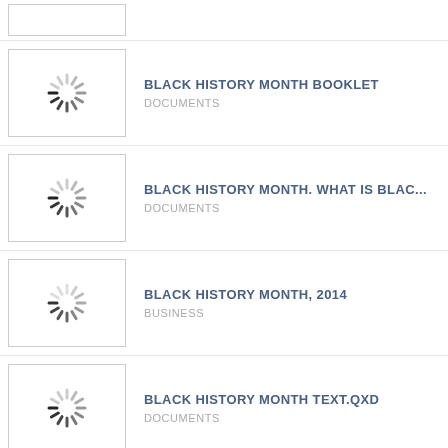(partial thumbnail — no title visible)
BLACK HISTORY MONTH BOOKLET | DOCUMENTS
BLACK HISTORY MONTH. WHAT IS BLAC... | DOCUMENTS
BLACK HISTORY MONTH, 2014 | BUSINESS
BLACK HISTORY MONTH TEXT.QXD | DOCUMENTS
BLACK HISTORY MONTH 2007 | DOCUMENTS (partial)